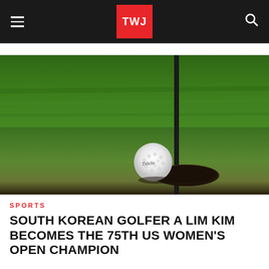TWJ
[Figure (photo): Close-up photo of a Titleist golf ball near a hole on a green putting surface, with a black flag pole visible on the right side]
SPORTS
SOUTH KOREAN GOLFER A LIM KIM BECOMES THE 75TH US WOMEN'S OPEN CHAMPION